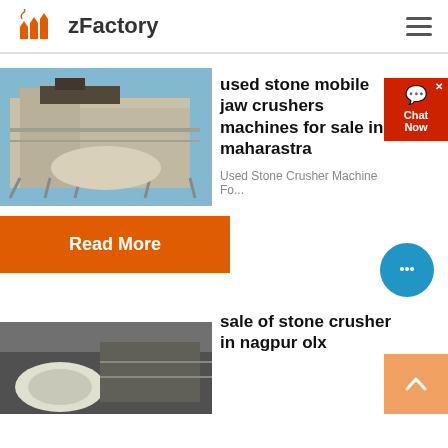zFactory
[Figure (photo): Industrial stone crusher / mobile jaw crusher machine with scaffolding, blue sky background]
used stone mobile jaw crushers machines for sale in maharastra
Used Stone Crusher Machine Fo...
Read More
[Figure (photo): Stone crusher machinery in warehouse setting, bottom of page]
sale of stone crusher in nagpur olx